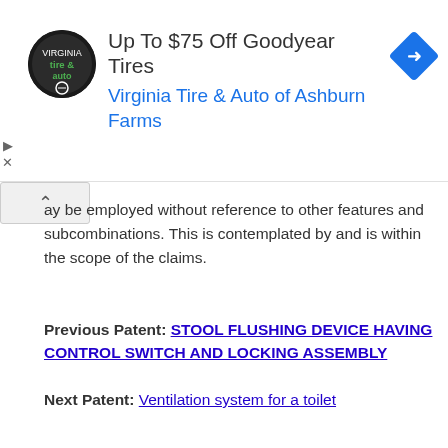[Figure (other): Advertisement banner for Virginia Tire & Auto of Ashburn Farms promoting Up To $75 Off Goodyear Tires, with circular logo and blue navigation icon]
ay be employed without reference to other features and subcombinations. This is contemplated by and is within the scope of the claims.
Previous Patent: STOOL FLUSHING DEVICE HAVING CONTROL SWITCH AND LOCKING ASSEMBLY
Next Patent: Ventilation system for a toilet